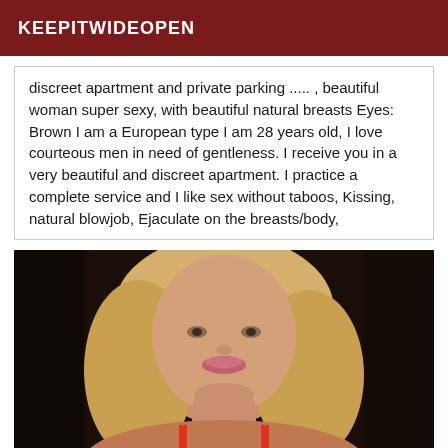KEEPITWIDEOPEN
discreet apartment and private parking ..... , beautiful woman super sexy, with beautiful natural breasts Eyes: Brown I am a European type I am 28 years old, I love courteous men in need of gentleness. I receive you in a very beautiful and discreet apartment. I practice a complete service and I like sex without taboos, Kissing, natural blowjob, Ejaculate on the breasts/body,
[Figure (photo): Close-up photo of a blonde woman wearing a red top, photographed from neck up, with dark background.]